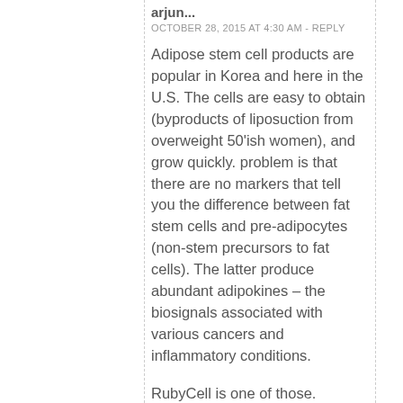arjun...
OCTOBER 28, 2015 AT 4:30 AM - REPLY
Adipose stem cell products are popular in Korea and here in the U.S. The cells are easy to obtain (byproducts of liposuction from overweight 50'ish women), and grow quickly. problem is that there are no markers that tell you the difference between fat stem cells and pre-adipocytes (non-stem precursors to fat cells). The latter produce abundant adipokines – the biosignals associated with various cancers and inflammatory conditions.
RubyCell is one of those. Contains 5% of human advanced adipose-derived stem cell protein extract. which is rather weak. You can buy...